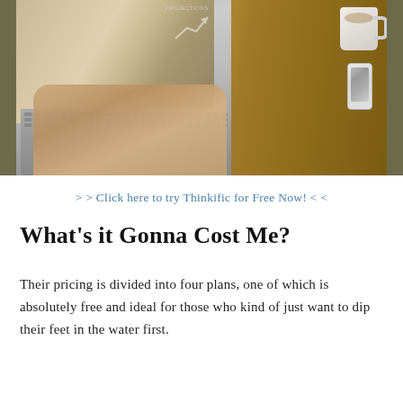[Figure (photo): Person typing on a laptop showing a woman writing on a board with projections chart; a coffee mug and smartphone on a wooden desk beside the laptop]
> > Click here to try Thinkific for Free Now! < <
What's it Gonna Cost Me?
Their pricing is divided into four plans, one of which is absolutely free and ideal for those who kind of just want to dip their feet in the water first.